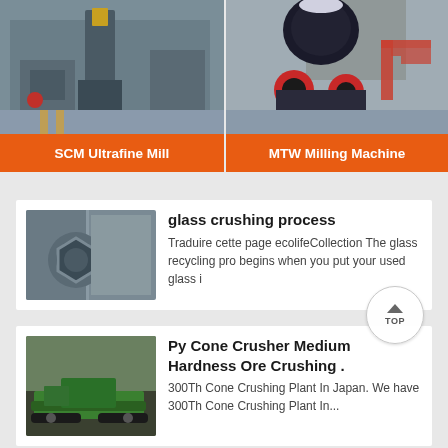[Figure (photo): Industrial SCM Ultrafine Mill machine in a factory setting]
SCM Ultrafine Mill
[Figure (photo): MTW Milling Machine with cone crusher in a large industrial facility]
MTW Milling Machine
[Figure (photo): Close-up of a steel bolt/nut on metallic surface - glass crushing process]
glass crushing process
Traduire cette page ecolifeCollection The glass recycling pro begins when you put your used glass i
[Figure (photo): Green mobile cone crusher machine on a mining site]
Py Cone Crusher Medium Hardness Ore Crushing .
300Th Cone Crushing Plant In Japan. We have 300Th Cone Crushing Plant In...